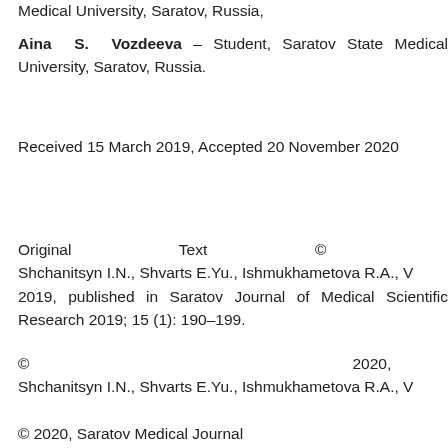Medical University, Saratov, Russia,
Aina S. Vozdeeva – Student, Saratov State Medical University, Saratov, Russia.
Received 15 March 2019, Accepted 20 November 2020
Original Text © Shchanitsyn I.N., Shvarts E.Yu., Ishmukhametova R.A., V... 2019, published in Saratov Journal of Medical Scientific Research 2019; 15 (1): 190–199.
© 2020, Shchanitsyn I.N., Shvarts E.Yu., Ishmukhametova R.A., V...
© 2020, Saratov Medical Journal